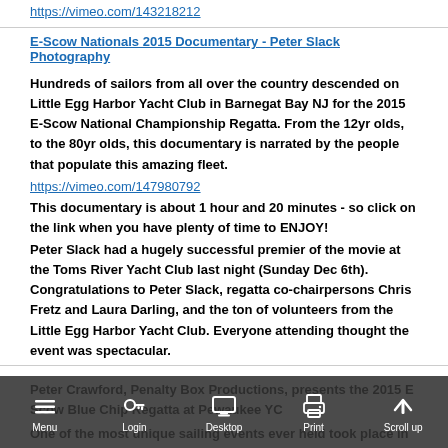https://vimeo.com/143218212
E-Scow Nationals 2015 Documentary - Peter Slack Photography
Hundreds of sailors from all over the country descended on Little Egg Harbor Yacht Club in Barnegat Bay NJ for the 2015 E-Scow National Championship Regatta. From the 12yr olds, to the 80yr olds, this documentary is narrated by the people that populate this amazing fleet.
https://vimeo.com/147980792
This documentary is about 1 hour and 20 minutes - so click on the link when you have plenty of time to ENJOY!
Peter Slack had a hugely successful premier of the movie at the Toms River Yacht Club last night (Sunday Dec 6th). Congratulations to Peter Slack, regatta co-chairpersons Chris Fretz and Laura Darling, and the ton of volunteers from the Little Egg Harbor Yacht Club. Everyone attending thought the event was spectacular.
Peter Crawford, Penalty Box Productions, presents the 2015 E Scow Blue Chip Regatta at Pewaukee YC
One of the most unique sailing events ever held took place in Pewaukee, Wi, on September 25-27. This year over 20 past mystery guests and class legends were invited back to mix it up on the water and at the bar. Quite a cast of characters and every single person in attendance had a blast and realized how special this event really was. Big thanks to Sean and Tiffany
Menu  Login  Desktop  Print  Scroll up